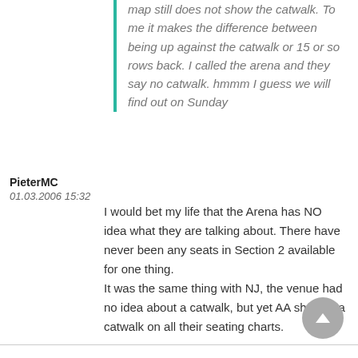PieterMC 01.03.2006 15:32 — map still does not show the catwalk. To me it makes the difference between being up against the catwalk or 15 or so rows back. I called the arena and they say no catwalk. hmmm I guess we will find out on Sunday
I would bet my life that the Arena has NO idea what they are talking about. There have never been any seats in Section 2 available for one thing. It was the same thing with NJ, the venue had no idea about a catwalk, but yet AA showed a catwalk on all their seating charts.
Erin 01.03.2006 15:32 — coops wrote: I called the arena and they say no catwalk. hmmm I guess we will find out on Sunday
If there isn't a catwalk, I am screwed over for seeing anything. It had better be there.